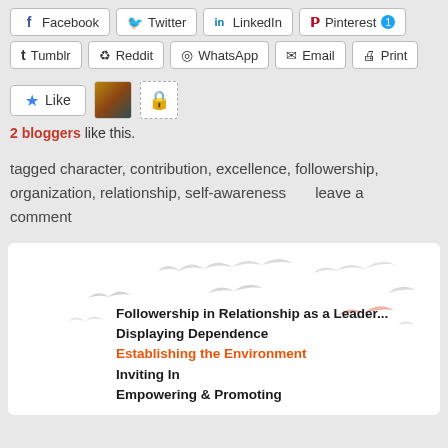[Figure (screenshot): Social share buttons row 1: Facebook, Twitter, LinkedIn, Pinterest with badge]
[Figure (screenshot): Social share buttons row 2: Tumblr, Reddit, WhatsApp, Email, Print]
[Figure (screenshot): Like button with star icon and two avatar thumbnails]
2 bloggers like this.
tagged character, contribution, excellence, followership, organization, relationship, self-awareness      leave a comment
[Figure (illustration): White card with silhouette birds (seagulls) in light gray and one in salmon/pink, with bold text listing: Followership in Relationship as a Leader... / Displaying Dependence / Establishing the Environment / Inviting In / Empowering & Promoting]